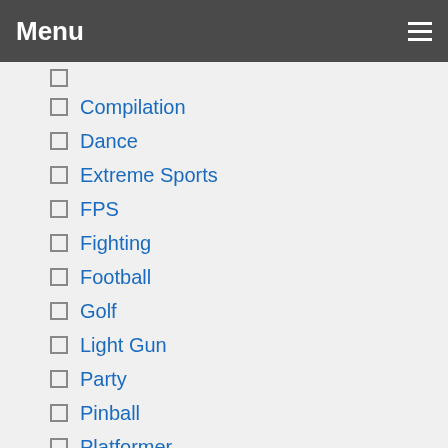Menu
Compilation
Dance
Extreme Sports
FPS
Fighting
Football
Golf
Light Gun
Party
Pinball
Platformer
Puzzle
RPG
Racing
Role Playing
Shoot'em Up
Shoot 'em up
Shooter
Simulation